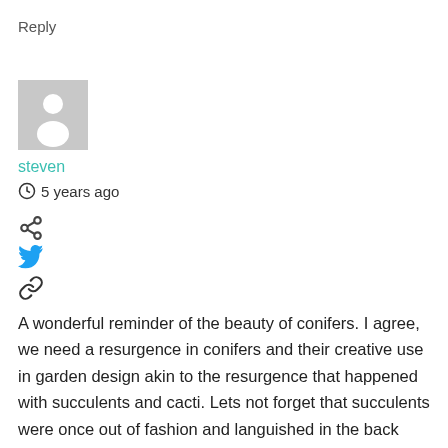Reply
[Figure (illustration): Generic user avatar placeholder — grey square with a white person silhouette icon]
steven
5 years ago
[Figure (illustration): Share icon (small node with three connecting circles)]
[Figure (illustration): Twitter bird icon in blue]
[Figure (illustration): Link/chain icon in dark grey]
A wonderful reminder of the beauty of conifers. I agree, we need a resurgence in conifers and their creative use in garden design akin to the resurgence that happened with succulents and cacti. Lets not forget that succulents were once out of fashion and languished in the back sections of our local nurseries